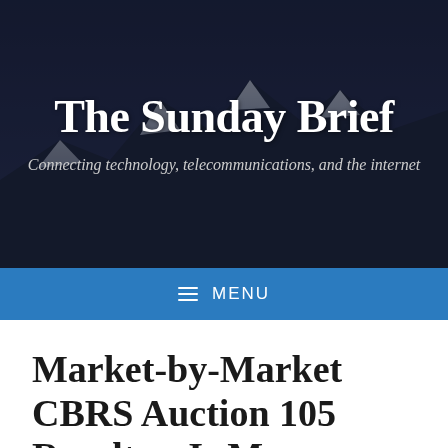The Sunday Brief
Connecting technology, telecommunications, and the internet
MENU
Market-by-Market CBRS Auction 105 Results – Is More Sharing in the Works?